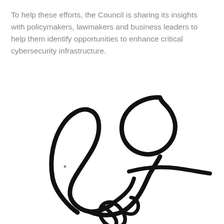To help these efforts, the Council is sharing its insights with policymakers, lawmakers and business leaders to help them identify opportunities to enhance critical cybersecurity infrastructure.
[Figure (illustration): A handwritten signature in black ink, large and spanning most of the lower half of the page.]